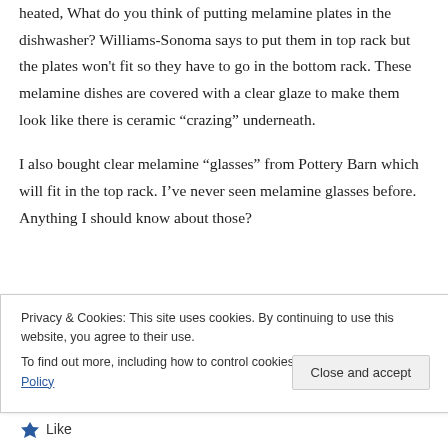heated, What do you think of putting melamine plates in the dishwasher? Williams-Sonoma says to put them in top rack but the plates won't fit so they have to go in the bottom rack. These melamine dishes are covered with a clear glaze to make them look like there is ceramic “crazing” underneath.
I also bought clear melamine “glasses” from Pottery Barn which will fit in the top rack. I’ve never seen melamine glasses before. Anything I should know about those?
Privacy & Cookies: This site uses cookies. By continuing to use this website, you agree to their use.
To find out more, including how to control cookies, see here: Cookie Policy
Close and accept
Like